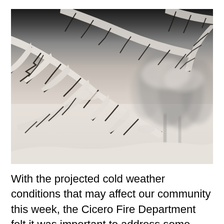[Figure (photo): Black and white photograph of snow-covered pine tree branches in the foreground with snow-covered trees and a snowy landscape in the background.]
With the projected cold weather conditions that may affect our community this week, the Cicero Fire Department felt it was important to address some